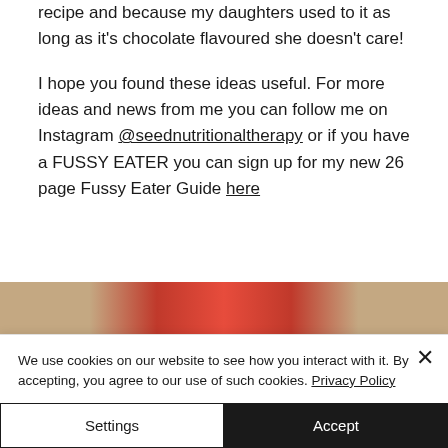recipe and because my daughters used to it as long as it's chocolate flavoured she doesn't care!

I hope you found these ideas useful. For more ideas and news from me you can follow me on Instagram @seednutritionaltherapy or if you have a FUSSY EATER you can sign up for my new 26 page Fussy Eater Guide here
[Figure (photo): Partial view of a food image showing a reddish/brown colored dish or bowl, cropped at the bottom of the page.]
We use cookies on our website to see how you interact with it. By accepting, you agree to our use of such cookies. Privacy Policy